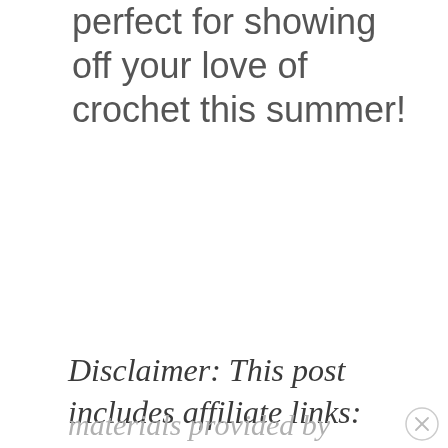perfect for showing off your love of crochet this summer!
Disclaimer: This post includes affiliate links:
materials provided by